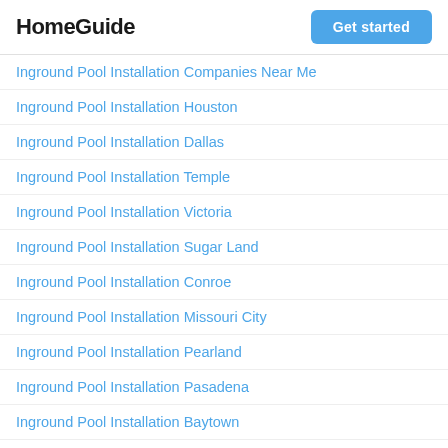HomeGuide | Get started
Inground Pool Installation Companies Near Me
Inground Pool Installation Houston
Inground Pool Installation Dallas
Inground Pool Installation Temple
Inground Pool Installation Victoria
Inground Pool Installation Sugar Land
Inground Pool Installation Conroe
Inground Pool Installation Missouri City
Inground Pool Installation Pearland
Inground Pool Installation Pasadena
Inground Pool Installation Baytown